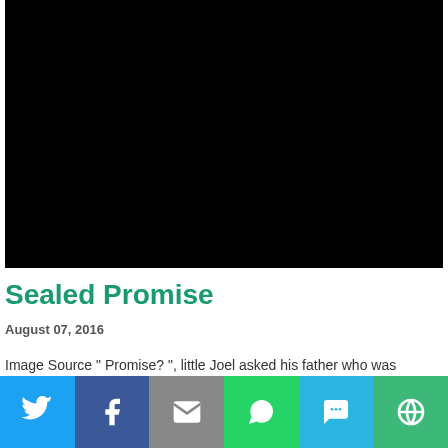[Figure (photo): Black video/image placeholder block]
Sealed Promise
August 07, 2016
Image Source " Promise? ". little Joel asked his father who was